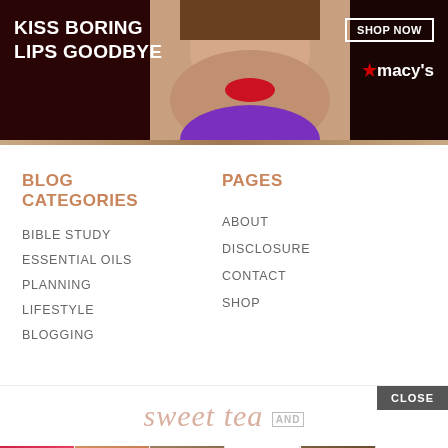[Figure (photo): Macy's advertisement banner: 'KISS BORING LIPS GOODBYE' with red-lipped woman model, SHOP NOW button, and Macy's star logo]
BLOG CATEGORIES
BIBLE STUDY
ESSENTIAL OILS
PLANNING
LIFESTYLE
BLOGGING
PAGES
ABOUT
DISCLOSURE
CONTACT
SHOP
[Figure (logo): Sweet tea and ... brand logo in italic rose-gold script]
[Figure (screenshot): Ulta beauty advertisement strip with makeup photos, CLOSE button, and SHOP NOW button]